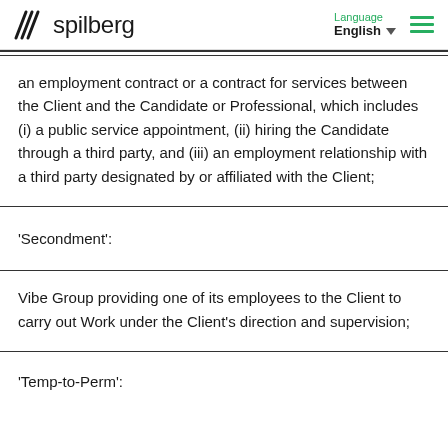spilberg — Language English
an employment contract or a contract for services between the Client and the Candidate or Professional, which includes (i) a public service appointment, (ii) hiring the Candidate through a third party, and (iii) an employment relationship with a third party designated by or affiliated with the Client;
'Secondment':
Vibe Group providing one of its employees to the Client to carry out Work under the Client's direction and supervision;
'Temp-to-Perm':